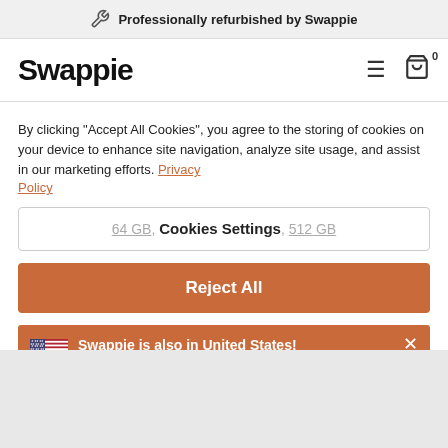Professionally refurbished by Swappie
[Figure (logo): Swappie logo text]
iPhones with 1 TB of storage
Looking for iPhones that have 1 TB of storage? We got you covered for all your 1TB iPhone and needs,
Explore also other storages:
By clicking "Accept All Cookies", you agree to the storing of cookies on your device to enhance site navigation, analyze site usage, and assist in our marketing efforts. Privacy Policy
64 GB, 128 GB, 512 GB — Cookies Settings
Reject All
Swappie is also in United States! Do you want your order shipped to United States? Yes, go to our website for United States >
Accept All Cookies